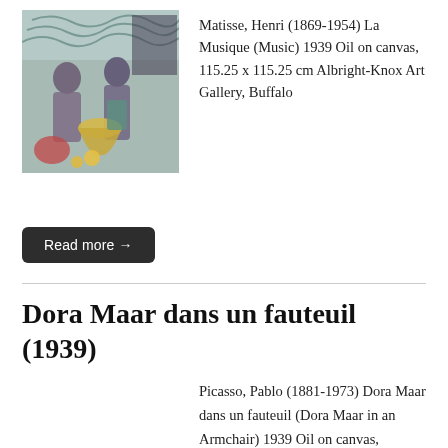[Figure (photo): Thumbnail of Matisse painting La Musique (Music) 1939, showing figures with colorful background]
Matisse, Henri (1869-1954) La Musique (Music) 1939 Oil on canvas, 115.25 x 115.25 cm Albright-Knox Art Gallery, Buffalo
Read more →
Dora Maar dans un fauteuil (1939)
Picasso, Pablo (1881-1973) Dora Maar dans un fauteuil (Dora Maar in an Armchair) 1939 Oil on canvas,